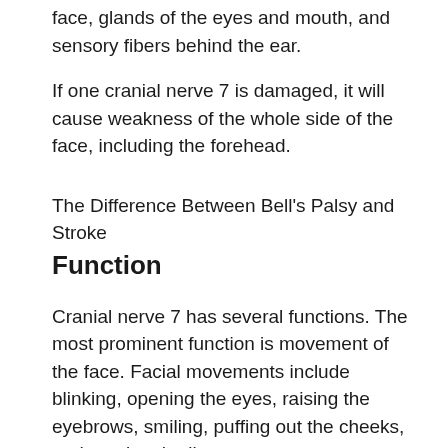face, glands of the eyes and mouth, and sensory fibers behind the ear.
If one cranial nerve 7 is damaged, it will cause weakness of the whole side of the face, including the forehead.
The Difference Between Bell's Palsy and Stroke
Function
Cranial nerve 7 has several functions. The most prominent function is movement of the face. Facial movements include blinking, opening the eyes, raising the eyebrows, smiling, puffing out the cheeks, and pursing the lips.
Some of these movements are voluntary (on purpose) and some are involuntary (not on purpose). Involuntary movements include blinking when something is coming toward your eyes. Movement is controlled in the